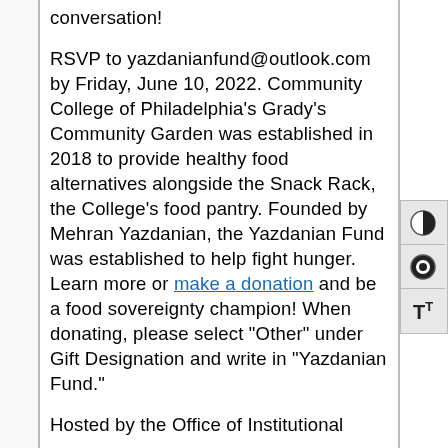conversation!

RSVP to yazdanianfund@outlook.com by Friday, June 10, 2022. Community College of Philadelphia's Grady's Community Garden was established in 2018 to provide healthy food alternatives alongside the Snack Rack, the College's food pantry. Founded by Mehran Yazdanian, the Yazdanian Fund was established to help fight hunger. Learn more or make a donation and be a food sovereignty champion! When donating, please select "Other" under Gift Designation and write in "Yazdanian Fund."

Hosted by the Office of Institutional